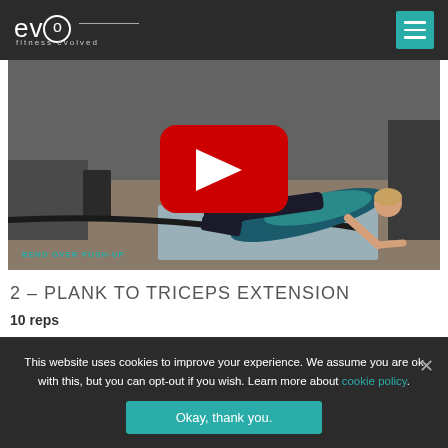evo fitness evolved
[Figure (screenshot): Video thumbnail showing a person performing a bend over push-up exercise in a gym, with a red YouTube play button overlay and text 'BEND OVER PUSH-UP' in teal at the bottom left.]
2 – PLANK TO TRICEPS EXTENSION
10 reps
Place a mat on the ground and arrange yourself up in a plank
This website uses cookies to improve your experience. We assume you are ok with this, but you can opt-out if you wish. Learn more about cookie policy.
Okay, thank you.